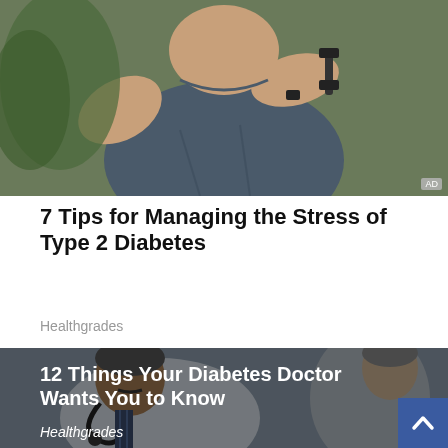[Figure (photo): Person in a blue/grey t-shirt holding a dumbbell with arms up, with greenery in the background. AD badge in bottom right corner.]
7 Tips for Managing the Stress of Type 2 Diabetes
Healthgrades
[Figure (photo): A doctor with a stethoscope talking to a patient in a clinical setting. Overlay text: 12 Things Your Diabetes Doctor Wants You to Know. Source: Healthgrades.]
12 Things Your Diabetes Doctor Wants You to Know
Healthgrades